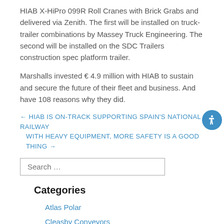HIAB X-HiPro 099R Roll Cranes with Brick Grabs and delivered via Zenith. The first will be installed on truck-trailer combinations by Massey Truck Engineering. The second will be installed on the SDC Trailers construction spec platform trailer.
Marshalls invested € 4.9 million with HIAB to sustain and secure the future of their fleet and business. And have 108 reasons why they did.
← HIAB IS ON-TRACK SUPPORTING SPAIN'S NATIONAL RAILWAY
WITH HEAVY EQUIPMENT, MORE SAFETY IS A GOOD THING →
Search …
Categories
Atlas Polar
Cleasby Conveyors